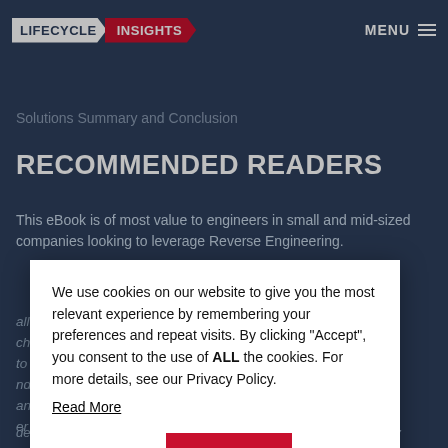LIFECYCLE INSIGHTS | MENU
Solutions Summary and Conclusion
RECOMMENDED READERS
This eBook is of most value to engineers in small and mid-sized companies looking to leverage Reverse Engineering.
We use cookies on our website to give you the most relevant experience by remembering your preferences and repeat visits. By clicking “Accept”, you consent to the use of ALL the cookies. For more details, see our Privacy Policy. Read More
Cookie settings | ACCEPT
all and mid-sized ch to do. You bear to work with nd time on the anding product er sits down at a desk, they must be highly productive. One of an engineer’s primary